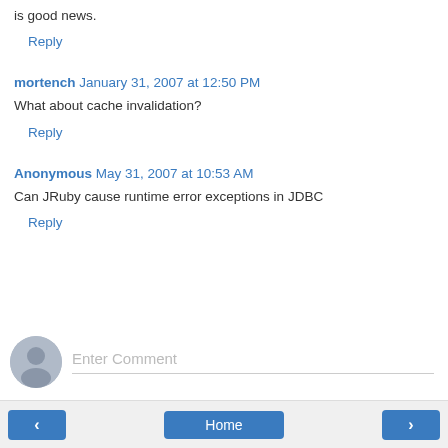is good news.
Reply
mortench  January 31, 2007 at 12:50 PM
What about cache invalidation?
Reply
Anonymous  May 31, 2007 at 10:53 AM
Can JRuby cause runtime error exceptions in JDBC
Reply
[Figure (other): User avatar placeholder icon (grey circle with person silhouette)]
Enter Comment
< Home >